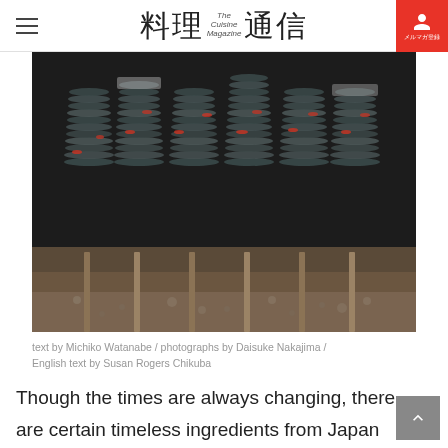料理通信
[Figure (photo): Close-up photograph of small fish (likely sardines or similar) skewered on wooden sticks, stacked in layers with some red accents, planted in dark gravel/soil ground.]
text by Michiko Watanabe / photographs by Daisuke Nakajima / English text by Susan Rogers Chikuba
Though the times are always changing, there are certain timeless ingredients from Japan that will never go out of style. Yukio Hattori, president of Hattori Nutrition College in Tokyo, introduces unique